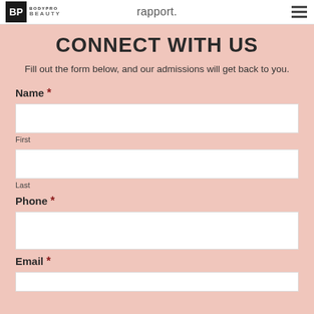rapport.
[Figure (logo): BodyPro Beauty logo with black square BP icon and text]
CONNECT WITH US
Fill out the form below, and our admissions will get back to you.
Name *
First
Last
Phone *
Email *